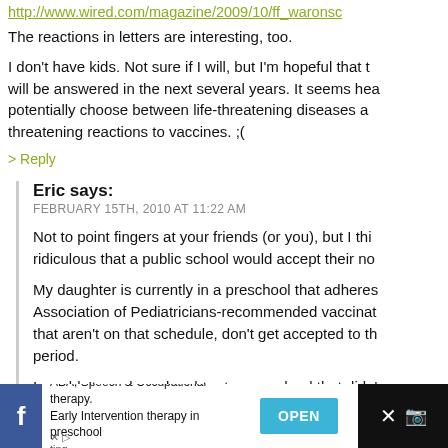http://www.wired.com/magazine/2009/10/ff_waronsc
The reactions in letters are interesting, too.
I don't have kids. Not sure if I will, but I'm hopeful that the question will be answered in the next several years. It seems heartbreaking to potentially choose between life-threatening diseases and life-threatening reactions to vaccines. ;(
> Reply
Eric says:
FEBRUARY 15TH, 2010 AT 11:22 AM
Not to point fingers at your friends (or you), but I think it's ridiculous that a public school would accept their non-vaccinated kids.
My daughter is currently in a preschool that adheres to the American Association of Pediatricians-recommended vaccination schedule. Kids that aren't on that schedule, don't get accepted to that preschool, period.
I wouldn't send my daughter to any school that didn't follow that schedule.